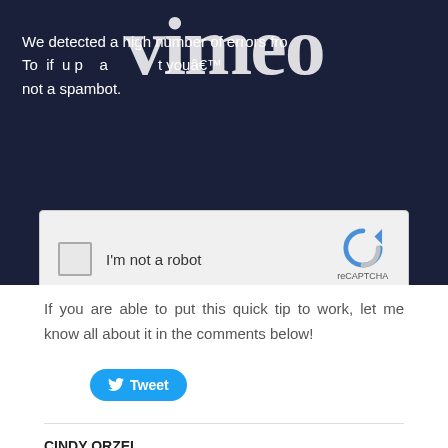[Figure (screenshot): Vimeo error page with reCAPTCHA widget. Dark navy background with Vimeo logo watermark. Text reads: 'We detected a high number of errors from... To continue, please confirm that you're not a spambot.' A reCAPTCHA checkbox widget shows 'I'm not a robot'.]
If you are able to put this quick tip to work, let me know all about it in the comments below!
[Figure (other): Twitter Tweet button (blue pill-shaped button with bird icon and 'Tweet' text)]
CINDY ORZEL
4/20/2017 07:00:55 AM